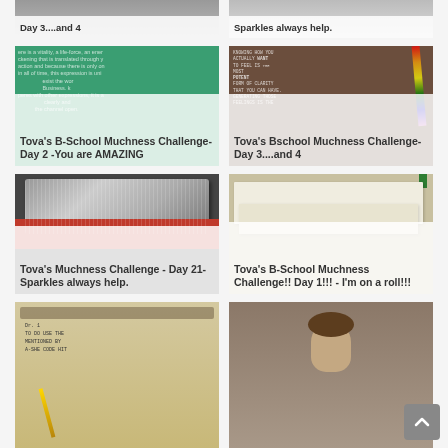[Figure (photo): Partial top card left - Day 3....and 4 thumbnail]
[Figure (photo): Partial top card right - Sparkles always help. thumbnail]
[Figure (photo): Green card with quote text overlay - Tova's B-School Muchness Challenge- Day 2 -You are AMAZING]
[Figure (photo): Chalkboard with colorful pen - Tova's Bschool Muchness Challenge- Day 3....and 4]
[Figure (photo): Glittery microphone on red surface - Tova's Muchness Challenge - Day 21- Sparkles always help.]
[Figure (photo): Papers on desk - Tova's B-School Muchness Challenge!! Day 1!!! - I'm on a roll!!!]
[Figure (photo): Note with handwriting on binder - partial bottom left]
[Figure (photo): Woman's face - partial bottom right]